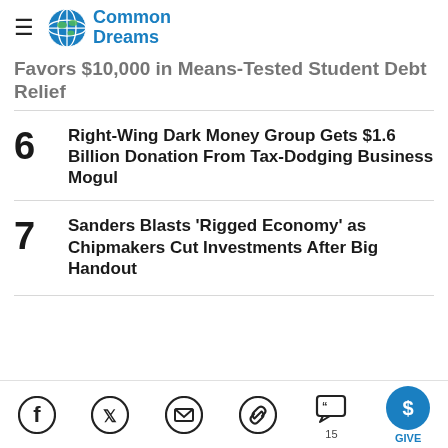Common Dreams
Favors $10,000 in Means-Tested Student Debt Relief
6 Right-Wing Dark Money Group Gets $1.6 Billion Donation From Tax-Dodging Business Mogul
7 Sanders Blasts 'Rigged Economy' as Chipmakers Cut Investments After Big Handout
Social share icons: Facebook, Twitter, Email, Link, Comments (15), GIVE